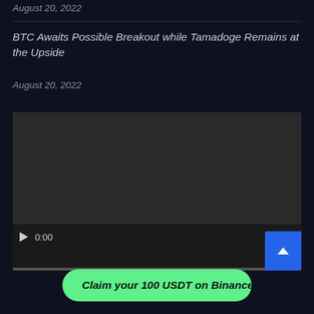August 20, 2022
BTC Awaits Possible Breakout while Tamadoge Remains at the Upside
August 20, 2022
[Figure (screenshot): Embedded video player showing a dark screen with playback controls: play button, time display 0:00, volume, fullscreen, and more options icons, with a progress bar at the bottom. A blue scroll-to-top button overlaid at bottom right.]
Claim your 100 USDT on Binance